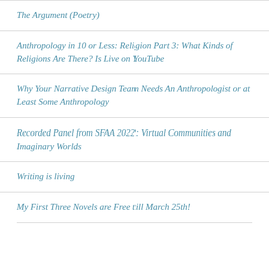The Argument (Poetry)
Anthropology in 10 or Less: Religion Part 3: What Kinds of Religions Are There? Is Live on YouTube
Why Your Narrative Design Team Needs An Anthropologist or at Least Some Anthropology
Recorded Panel from SFAA 2022: Virtual Communities and Imaginary Worlds
Writing is living
My First Three Novels are Free till March 25th!